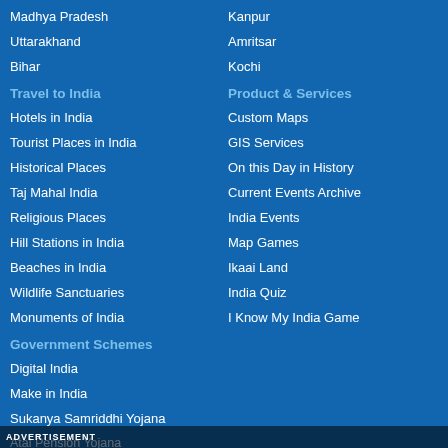Madhya Pradesh
Kanpur
Uttarakhand
Amritsar
Bihar
Kochi
Travel to India
Product & Services
Hotels in India
Custom Maps
Tourist Places in India
GIS Services
Historical Places
On this Day in History
Taj Mahal India
Current Events Archive
Religious Places
India Events
Hill Stations in India
Map Games
Beaches in India
Ikaai Land
Wildlife Sanctuaries
India Quiz
Monuments of India
I Know My India Game
Government Schemes
Digital India
Make in India
Sukanya Samriddhi Yojana
Atal Pension Yojana
ADVERTISEMENT